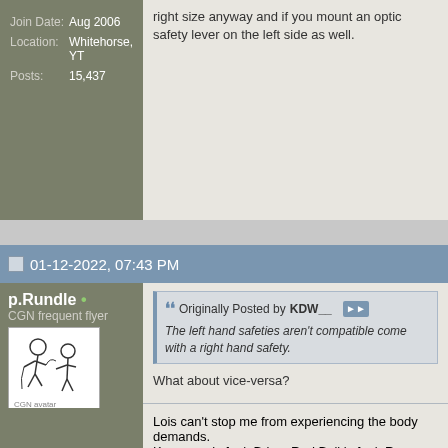| Field | Value |
| --- | --- |
| Join Date: | Aug 2006 |
| Location: | Whitehorse, YT |
| Posts: | 15,437 |
right size anyway and if you mount an optic safety lever on the left side as well.
01-12-2022, 07:43 PM
p.Rundle •
CGN frequent flyer
[Figure (illustration): Avatar image showing cartoon characters]
| Field | Value |
| --- | --- |
| Join Date: | Sep 2015 |
| Location: | I dunno where I am but I know where you can stick it |
| Posts: | 1,544 |
Originally Posted by KDW__
The left hand safeties aren't compatible come with a right hand safety.
What about vice-versa?
Lois can't stop me from experiencing the body demands.
Kerosene is fuel, Brian. Red Bull is fuel.